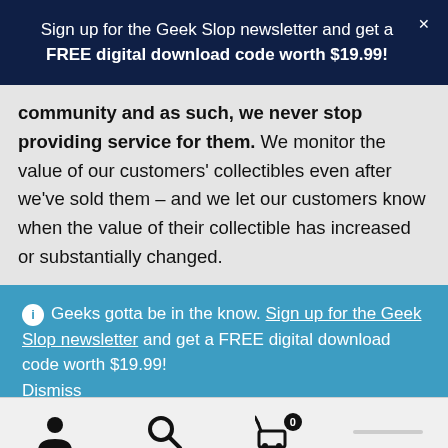Sign up for the Geek Slop newsletter and get a FREE digital download code worth $19.99!
community and as such, we never stop providing service for them. We monitor the value of our customers' collectibles even after we've sold them – and we let our customers know when the value of their collectible has increased or substantially changed.
We listen. We listen to our customers. Are we missing something you want? Let us know! Is there something we
Geeks gotta be in the know. Sign up for the Geek Slop newsletter and get a FREE digital download code worth $19.99! Dismiss